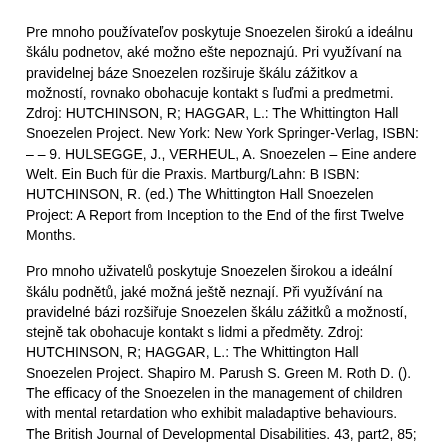Pre mnoho používateľov poskytuje Snoezelen širokú a ideálnu škálu podnetov, aké možno ešte nepoznajú. Pri využívaní na pravidelnej báze Snoezelen rozširuje škálu zážitkov a možností, rovnako obohacuje kontakt s ľuďmi a predmetmi. Zdroj: HUTCHINSON, R; HAGGAR, L.: The Whittington Hall Snoezelen Project. New York: New York Springer-Verlag, ISBN: – – 9. HULSEGGE, J., VERHEUL, A. Snoezelen – Eine andere Welt. Ein Buch für die Praxis. Martburg/Lahn: B ISBN: HUTCHINSON, R. (ed.) The Whittington Hall Snoezelen Project: A Report from Inception to the End of the first Twelve Months.
Pro mnoho uživatelů poskytuje Snoezelen širokou a ideální škálu podnětů, jaké možná ještě neznají. Při využívání na pravidelné bázi rozšiřuje Snoezelen škálu zážitků a možností, stejně tak obohacuje kontakt s lidmi a předměty. Zdroj: HUTCHINSON, R; HAGGAR, L.: The Whittington Hall Snoezelen Project. Shapiro M. Parush S. Green M. Roth D. (). The efficacy of the Snoezelen in the management of children with mental retardation who exhibit maladaptive behaviours. The British Journal of Developmental Disabilities. 43, part2, 85; p. Thompson S., & Martin, S. (). Making sense of multisensory rooms for people with learning.
CUNNINGHAM, C. C., HUTCHINSON, R. Recreation for people with profound and severe learning difficulties: the Whittington Hall Snoezelen Project. In: The Whittington Hall Snoezelen Project. A Report from Inception to the End of the First. Inexpensive puzzle books, word search puzzles books, Sudoku books Adult/teen coloring books, mazes The Whittington Hall Snoezelen project. North Derbyshire Health